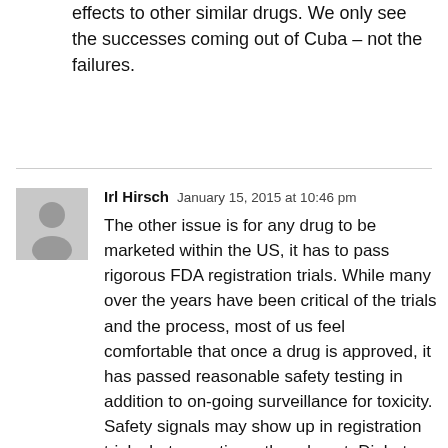effects to other similar drugs. We only see the successes coming out of Cuba – not the failures.
Irl Hirsch  January 15, 2015 at 10:46 pm
The other issue is for any drug to be marketed within the US, it has to pass rigorous FDA registration trials. While many over the years have been critical of the trials and the process, most of us feel comfortable that once a drug is approved, it has passed reasonable safety testing in addition to on-going surveillance for toxicity. Safety signals may show up in registration trials, but sometimes they do not. Diabetes drugs such as Rezulin and Avandia come to mind, as does Redux for obesity. All of these drugs were taken off the market once